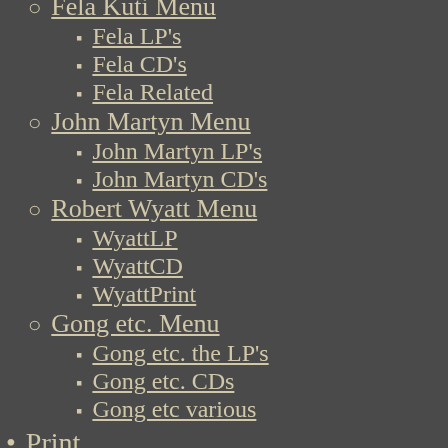Fela Kuti Menu
Fela LP's
Fela CD's
Fela Related
John Martyn Menu
John Martyn LP's
John Martyn CD's
Robert Wyatt Menu
WyattLP
WyattCD
WyattPrint
Gong etc. Menu
Gong etc. the LP's
Gong etc. CDs
Gong etc various
Print
Grateful Dead Books
Calendars
Cards
Comics
Magazines
Posters
Songbooks
Stickers
Clothing